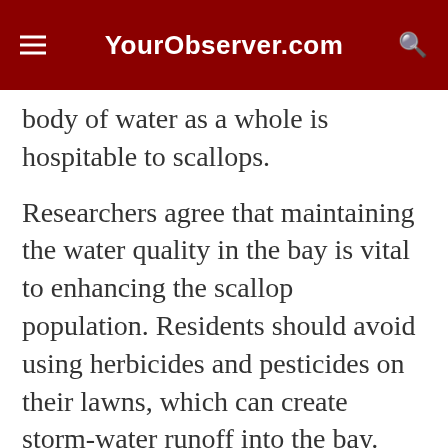YourObserver.com
body of water as a whole is hospitable to scallops.
Researchers agree that maintaining the water quality in the bay is vital to enhancing the scallop population. Residents should avoid using herbicides and pesticides on their lawns, which can create storm-water runoff into the bay. Improving the water quality also helps seagrass to grow, expanding the scallops' habitat.
Sarasota Bay Estuary Program and the Florida Fish & Wildlife Research Institute have introduced